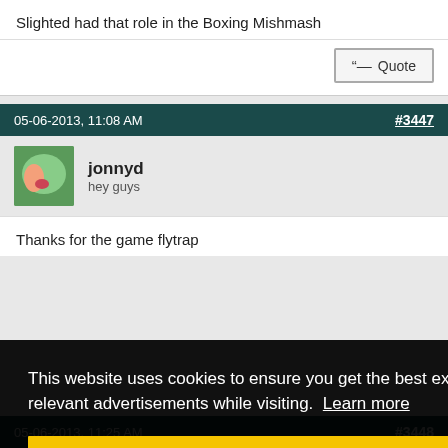Slighted had that role in the Boxing Mishmash
Quote
05-06-2013, 11:08 AM  #3447
jonnyd
hey guys
Thanks for the game flytrap
This website uses cookies to ensure you get the best experience and relevant advertisements while visiting. Learn more
Got it!
05-06-2013, 11:25 AM  #3448